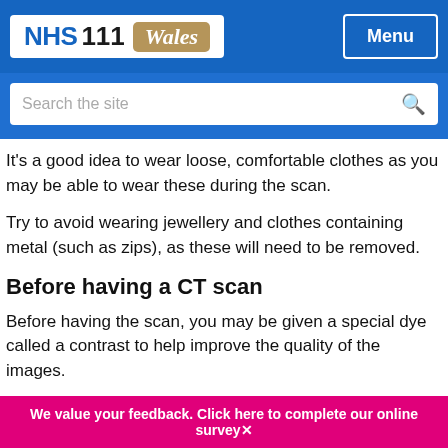NHS 111 Wales | Menu
It's a good idea to wear loose, comfortable clothes as you may be able to wear these during the scan.
Try to avoid wearing jewellery and clothes containing metal (such as zips), as these will need to be removed.
Before having a CT scan
Before having the scan, you may be given a special dye called a contrast to help improve the quality of the images.
This may be swallowed in the form of a drink, passed into
We value your feedback. Click here to complete our online survey✕